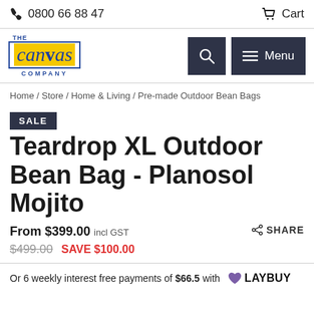0800 66 88 47   Cart
[Figure (logo): The Canvas Company logo - yellow background with blue cursive 'canvas' text in a blue bordered box, with 'THE' above and 'COMPANY' below]
Home / Store / Home & Living / Pre-made Outdoor Bean Bags
SALE
Teardrop XL Outdoor Bean Bag - Planosol Mojito
From $399.00 incl GST
$499.00 SAVE $100.00
Or 6 weekly interest free payments of $66.5 with LAYBUY